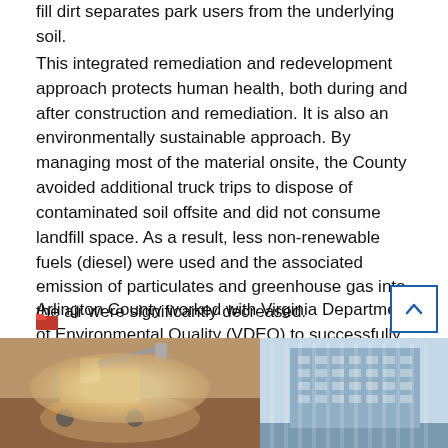fill dirt separates park users from the underlying soil.
This integrated remediation and redevelopment approach protects human health, both during and after construction and remediation. It is also an environmentally sustainable approach. By managing most of the material onsite, the County avoided additional truck trips to dispose of contaminated soil offsite and did not consume landfill space. As a result, less non-renewable fuels (diesel) were used and the associated emission of particulates and greenhouse gas into the air were significantly decreased.
Arlington County worked with Virginia Department of Environmental Quality (VDEQ) to successfully carry out the remedial process and to receive Certificates of Satisfactory Completion for Parcels 14 and 15.
[Figure (photo): Two photos side by side at the bottom of the page: left photo shows construction/excavation equipment, right photo shows a modern multi-story building.]